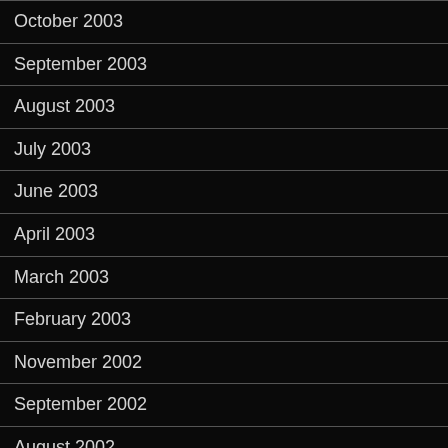October 2003
September 2003
August 2003
July 2003
June 2003
April 2003
March 2003
February 2003
November 2002
September 2002
August 2002
July 2002